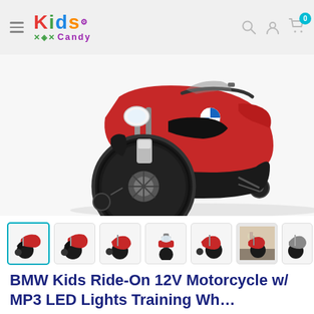Kids Candy — navigation header with logo, search, account, cart (0)
[Figure (photo): Close-up photo of a red and black BMW kids ride-on 12V toy motorcycle with training wheels, shown on white background]
[Figure (photo): Thumbnail gallery strip showing 7 product images of the BMW kids motorcycle from various angles]
BMW Kids Ride-On 12V Motorcycle w/ MP3 LED Lights Training Wheels